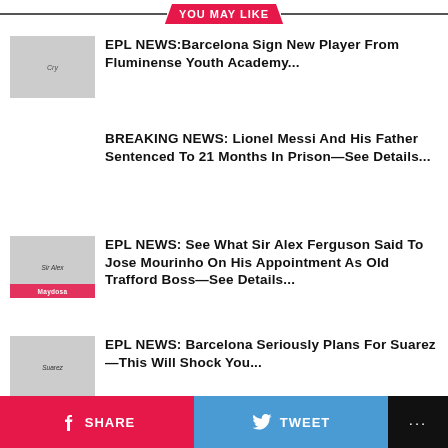YOU MAY LIKE
EPL NEWS:Barcelona Sign New Player From Fluminense Youth Academy...
BREAKING NEWS: Lionel Messi And His Father Sentenced To 21 Months In Prison—See Details...
EPL NEWS: See What Sir Alex Ferguson Said To Jose Mourinho On His Appointment As Old Trafford Boss—See Details...
EPL NEWS: Barcelona Seriously Plans For Suarez—This Will Shock You...
SHARE  TWEET  ...